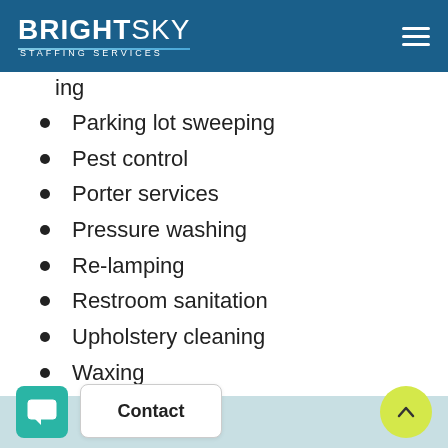BRIGHTSKY STAFFING SERVICES
Parking lot sweeping
Pest control
Porter services
Pressure washing
Re-lamping
Restroom sanitation
Upholstery cleaning
Waxing
Window cleaning
Contact